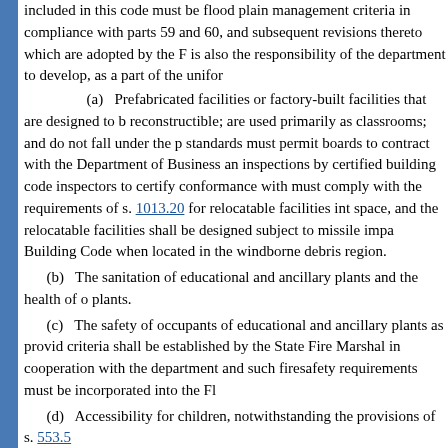included in this code must be flood plain management criteria in compliance with parts 59 and 60, and subsequent revisions thereto which are adopted by the F is also the responsibility of the department to develop, as a part of the unifor
(a) Prefabricated facilities or factory-built facilities that are designed to b reconstructible; are used primarily as classrooms; and do not fall under the p standards must permit boards to contract with the Department of Business an inspections by certified building code inspectors to certify conformance with must comply with the requirements of s. 1013.20 for relocatable facilities int space, and the relocatable facilities shall be designed subject to missile impa Building Code when located in the windborne debris region.
(b) The sanitation of educational and ancillary plants and the health of o plants.
(c) The safety of occupants of educational and ancillary plants as provid criteria shall be established by the State Fire Marshal in cooperation with the department and such firesafety requirements must be incorporated into the Fl
(d) Accessibility for children, notwithstanding the provisions of s. 553.5
(e) The performance of life-cycle cost analyses on alternative architectu their energy efficiencies.
1. The life-cycle cost analysis must consist of the sum of:
a. The reasonably expected fuel costs over the life of the building which water heating, temperature, humidity, ventilation, and all other energy-consu
b. The reasonable costs of probable maintenance, including labor and m
2. For computation of the life-cycle costs, the department shall develop s